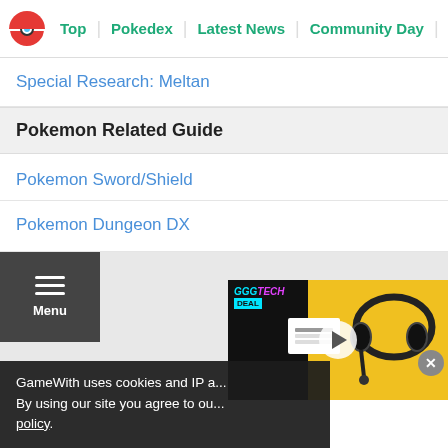Top | Pokedex | Latest News | Community Day | Tier L...
Special Research: Meltan
Pokemon Related Guide
Pokemon Sword/Shield
Pokemon Dungeon DX
[Figure (screenshot): Menu button with hamburger icon and a video thumbnail of a gaming headset on yellow background with GGGTECH DEAL label and play button; close button visible]
GameWith uses cookies and IP a... By using our site you agree to ou... policy.